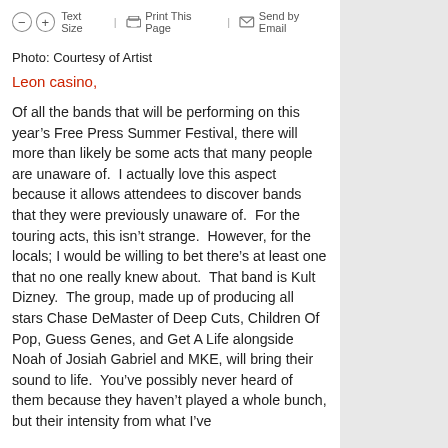Text Size | Print This Page | Send by Email
Photo: Courtesy of Artist
Leon casino,
Of all the bands that will be performing on this year’s Free Press Summer Festival, there will more than likely be some acts that many people are unaware of.  I actually love this aspect because it allows attendees to discover bands that they were previously unaware of.  For the touring acts, this isn’t strange.  However, for the locals; I would be willing to bet there’s at least one that no one really knew about.  That band is Kult Dizney.  The group, made up of producing all stars Chase DeMaster of Deep Cuts, Children Of Pop, Guess Genes, and Get A Life alongside Noah of Josiah Gabriel and MKE, will bring their sound to life.  You’ve possibly never heard of them because they haven’t played a whole bunch, but their intensity from what I’ve